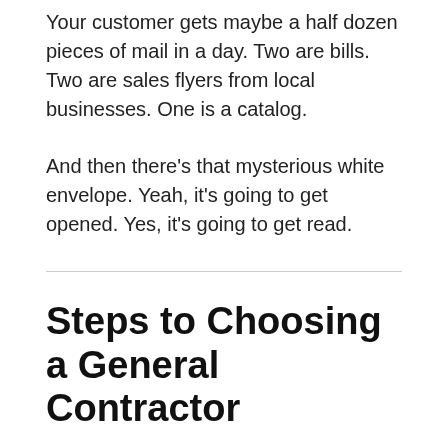Your customer gets maybe a half dozen pieces of mail in a day. Two are bills. Two are sales flyers from local businesses. One is a catalog.
And then there’s that mysterious white envelope. Yeah, it’s going to get opened. Yes, it’s going to get read.
Steps to Choosing a General Contractor
FEBRUARY 17, 2017 / ADMIN
Choosing the right General Contractor is an important process. Your home is a special place and you deserve to be comfortable and comfortable living environment. The